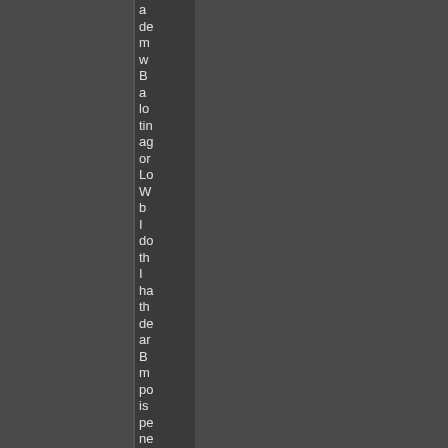a de m w B a lo tin ag or Lo W b I do th I ha th de ar B m po is pe ne to be ab